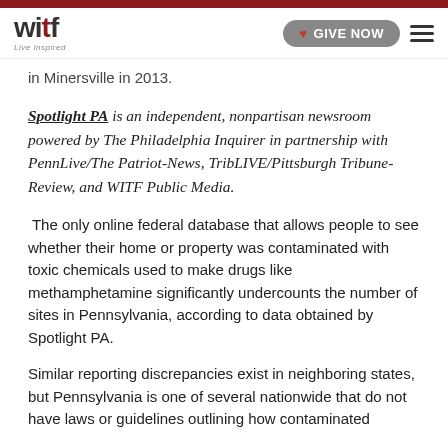witf — GIVE NOW
in Minersville in 2013.
Spotlight PA is an independent, nonpartisan newsroom powered by The Philadelphia Inquirer in partnership with PennLive/The Patriot-News, TribLIVE/Pittsburgh Tribune-Review, and WITF Public Media.
The only online federal database that allows people to see whether their home or property was contaminated with toxic chemicals used to make drugs like methamphetamine significantly undercounts the number of sites in Pennsylvania, according to data obtained by Spotlight PA.
Similar reporting discrepancies exist in neighboring states, but Pennsylvania is one of several nationwide that do not have laws or guidelines outlining how contaminated